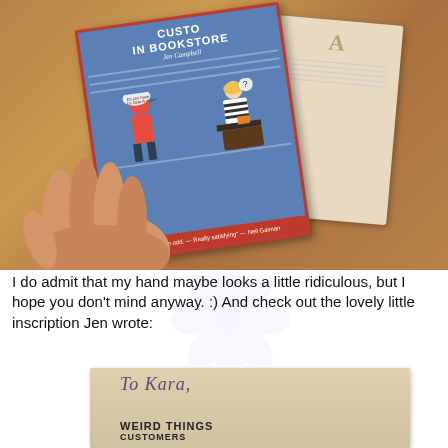[Figure (photo): A hand holding a copy of a book titled 'Weird Things Customers Say in Bookstores' by Jen Campbell, with a blue cover featuring illustrated characters. Another card/book is visible behind it, on a wooden surface background.]
I do admit that my hand maybe looks a little ridiculous, but I hope you don't mind anyway. :) And check out the lovely little inscription Jen wrote:
[Figure (photo): Close-up of a book inscription page showing handwritten text 'To Kara,' in purple ink and printed text 'WEIRD THINGS CUSTOMERS' at the bottom.]